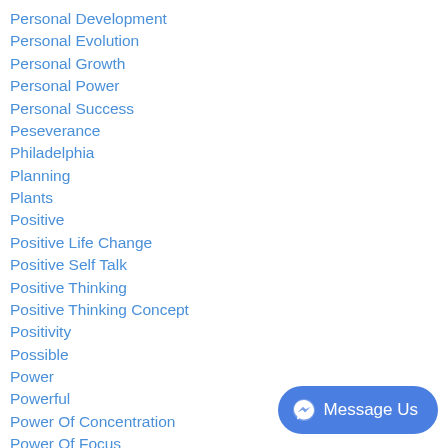Personal Development
Personal Evolution
Personal Growth
Personal Power
Personal Success
Peseverance
Philadelphia
Planning
Plants
Positive
Positive Life Change
Positive Self Talk
Positive Thinking
Positive Thinking Concept
Positivity
Possible
Power
Powerful
Power Of Concentration
Power Of Focus